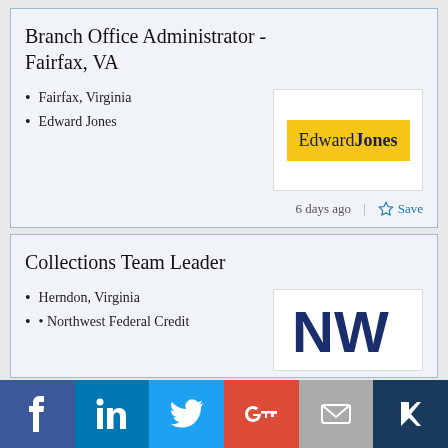Branch Office Administrator - Fairfax, VA
Fairfax, Virginia
Edward Jones
[Figure (logo): Edward Jones yellow logo with dark blue serif text]
6 days ago
Save
Collections Team Leader
Herndon, Virginia
Northwest Federal Credit
[Figure (logo): Northwest Federal Credit Union logo - navy blue NW letters]
[Figure (infographic): Social sharing bar with Facebook, LinkedIn, Twitter, Google+, Email, and Klout icons]